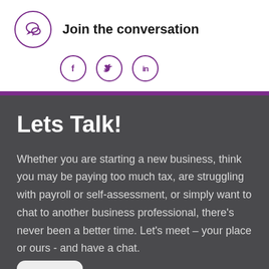[Figure (logo): Chat bubble icon inside a purple circle]
Join the conversation
[Figure (infographic): Social media icons: Facebook (f), Twitter (bird), LinkedIn (in) each in purple outlined circles]
Lets Talk!
Whether you are starting a new business, think you may be paying too much tax, are struggling with payroll or self-assessment, or simply want to chat to another business professional, there's never been a better time. Let's meet – your place or ours - and have a chat.